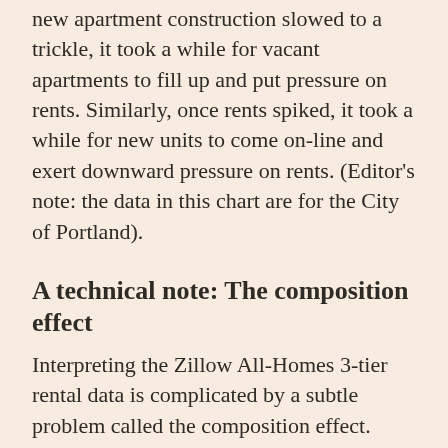new apartment construction slowed to a trickle, it took a while for vacant apartments to fill up and put pressure on rents. Similarly, once rents spiked, it took a while for new units to come on-line and exert downward pressure on rents. (Editor's note: the data in this chart are for the City of Portland).
A technical note:  The composition effect
Interpreting the Zillow All-Homes 3-tier rental data is complicated by a subtle problem called the composition effect. Zillow creates its three tiers by dividing its all-homes rental data into three equal parts